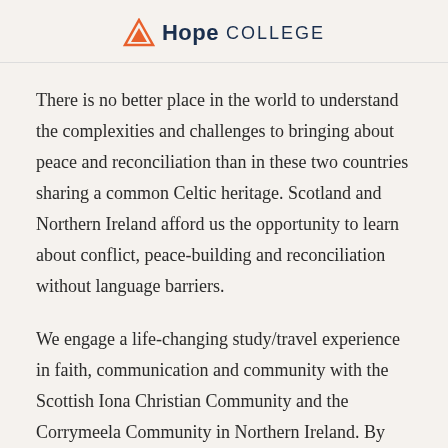Hope College
There is no better place in the world to understand the complexities and challenges to bringing about peace and reconciliation than in these two countries sharing a common Celtic heritage. Scotland and Northern Ireland afford us the opportunity to learn about conflict, peace-building and reconciliation without language barriers.
We engage a life-changing study/travel experience in faith, communication and community with the Scottish Iona Christian Community and the Corrymeela Community in Northern Ireland. By understanding the centuries-long histories of social, ethnic, sectarian and political conflict that have helped shape these nations,